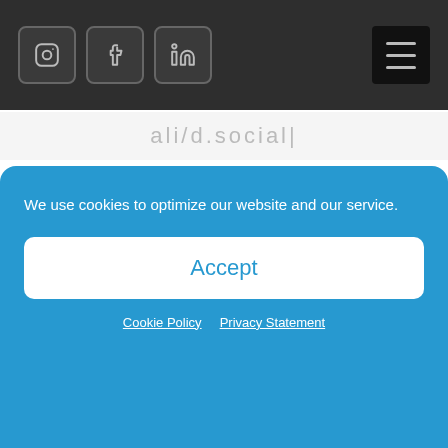Social media icons (Instagram, Facebook, LinkedIn) and hamburger menu
[Figure (logo): Watermark logo text in grey]
7 Signs You Need a Commercial Roof Repair
Fall Roof Inspections: 8 Signs You Need a Check Up
Categories
Carpentry
We use cookies to optimize our website and our service.
Accept
Cookie Policy   Privacy Statement